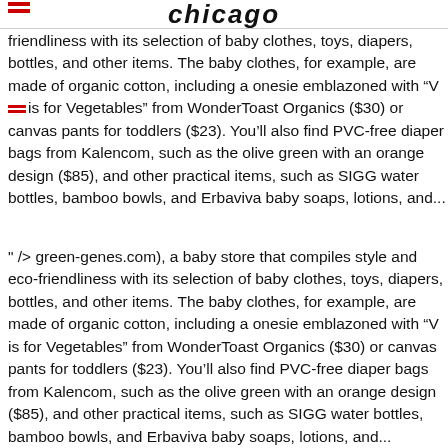chicago
friendliness with its selection of baby clothes, toys, diapers, bottles, and other items. The baby clothes, for example, are made of organic cotton, including a onesie emblazoned with “V is for Vegetables” from WonderToast Organics ($30) or canvas pants for toddlers ($23). You’ll also find PVC-free diaper bags from Kalencom, such as the olive green with an orange design ($85), and other practical items, such as SIGG water bottles, bamboo bowls, and Erbaviva baby soaps, lotions, and...
" /> green-genes.com), a baby store that compiles style and eco-friendliness with its selection of baby clothes, toys, diapers, bottles, and other items. The baby clothes, for example, are made of organic cotton, including a onesie emblazoned with “V is for Vegetables” from WonderToast Organics ($30) or canvas pants for toddlers ($23). You’ll also find PVC-free diaper bags from Kalencom, such as the olive green with an orange design ($85), and other practical items, such as SIGG water bottles, bamboo bowls, and Erbaviva baby soaps, lotions, and...